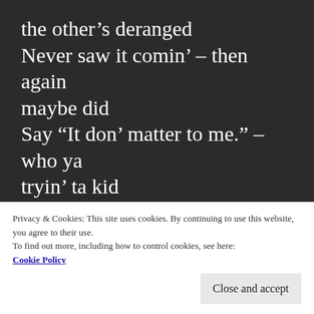the other's deranged
Never saw it comin' – then again maybe did
Say “It don' matter to me.” – who ya tryin' ta kid
Easter came an' went, Good Friday too
Throw down baby, what's it mean ta you
Privacy & Cookies: This site uses cookies. By continuing to use this website, you agree to their use.
To find out more, including how to control cookies, see here: Cookie Policy